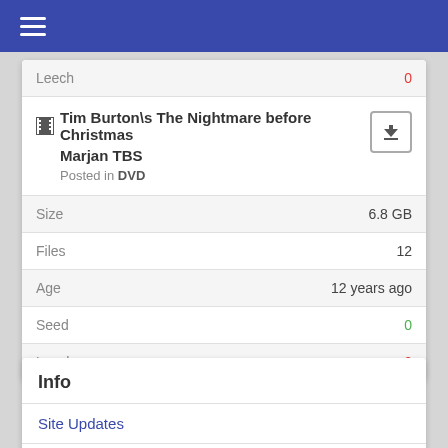Navigation menu
| Field | Value |
| --- | --- |
| Leech | 0 |
| Tim Burton\s The Nightmare before Christmas Marjan TBS — Posted in DVD | download |
| Size | 6.8 GB |
| Files | 12 |
| Age | 12 years ago |
| Seed | 0 |
| Leech | 0 |
Info
Site Updates
All torrents to all